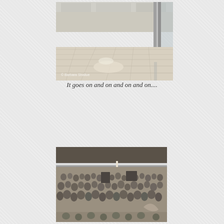[Figure (photo): Indoor hallway or terminal with highly reflective beige/cream tiled floor. A metal pole/column is visible on the right side. Watermark reads '© Barbara Shallue' in the lower left corner.]
It goes on and on and on and on....
[Figure (photo): Close-up of a large crowd mural or artwork behind a metal railing/bar. The image shows a dense crowd of people in sepia/monochrome tones. A hand or object is visible in the crowd.]